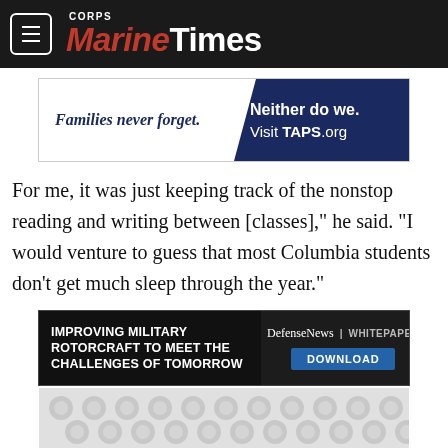Marine Corps Times
[Figure (other): Advertisement banner: left side white with italic bold text 'Families never forget.' Right side navy blue with text 'Neither do we. Visit TAPS.org']
For me, it was just keeping track of the nonstop reading and writing between [classes]," he said. "I would venture to guess that most Columbia students don't get much sleep through the year."
[Figure (other): Advertisement: DefenseNews Whitepaper - 'IMPROVING MILITARY ROTORCRAFT TO MEET THE CHALLENGES OF TOMORROW' with Download button]
[Figure (other): Bottom decorative pattern area with light gray background and rotorcraft silhouette pattern]